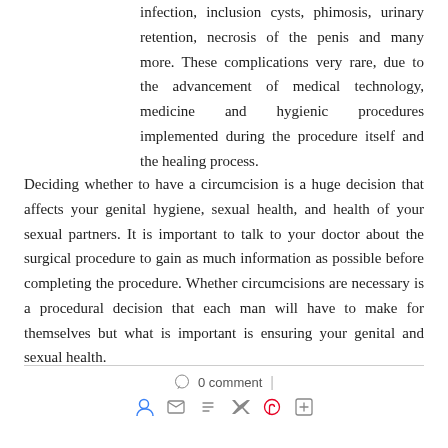infection, inclusion cysts, phimosis, urinary retention, necrosis of the penis and many more. These complications very rare, due to the advancement of medical technology, medicine and hygienic procedures implemented during the procedure itself and the healing process.
Deciding whether to have a circumcision is a huge decision that affects your genital hygiene, sexual health, and health of your sexual partners. It is important to talk to your doctor about the surgical procedure to gain as much information as possible before completing the procedure. Whether circumcisions are necessary is a procedural decision that each man will have to make for themselves but what is important is ensuring your genital and sexual health.
0 comment